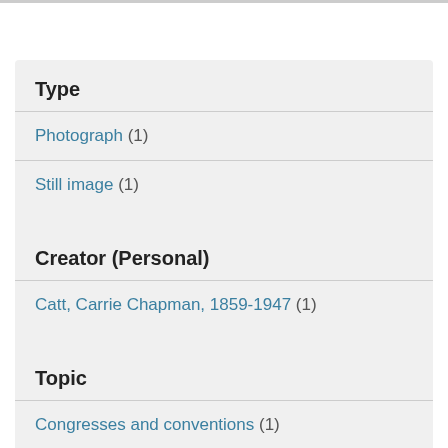Type
Photograph (1)
Still image (1)
Creator (Personal)
Catt, Carrie Chapman, 1859-1947 (1)
Topic
Congresses and conventions (1)
Suffragists (1)